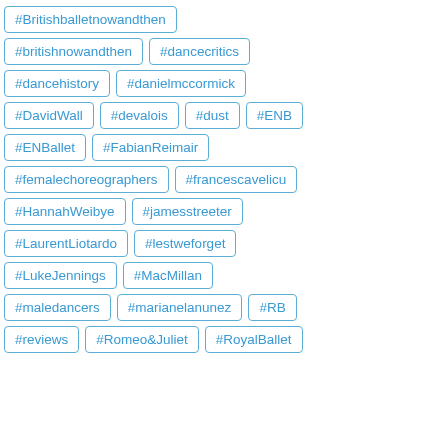#Britishballetnowandthen
#britishnowandthen
#dancecritics
#dancehistory
#danielmccormick
#DavidWall
#devalois
#dust
#ENB
#ENBallet
#FabianReimair
#femalechoreographers
#francescavelicu
#HannahWeibye
#jamesstreeter
#LaurentLiotardo
#lestweforget
#LukeJennings
#MacMillan
#maledancers
#marianelanunez
#RB
#reviews
#Romeo&Juliet
#RoyalBallet